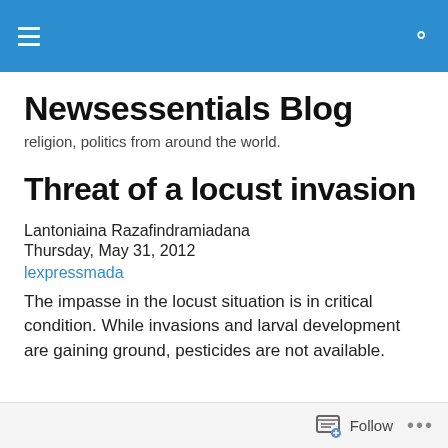Newsessentials Blog — navigation header bar
Newsessentials Blog
religion, politics from around the world.
Threat of a locust invasion
Lantoniaina Razafindramiadana
Thursday, May 31, 2012
lexpressmada
The impasse in the locust situation is in critical condition. While invasions and larval development are gaining ground, pesticides are not available.
Follow